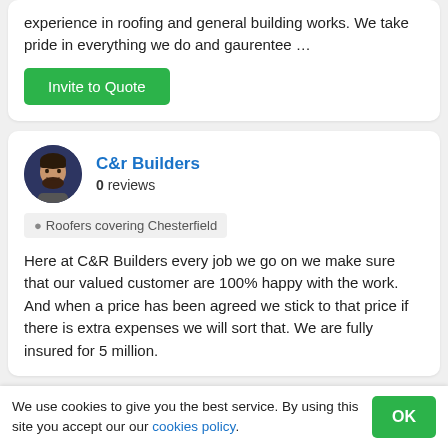experience in roofing and general building works. We take pride in everything we do and gaurentee …
Invite to Quote
C&r Builders
0 reviews
Roofers covering Chesterfield
Here at C&R Builders every job we go on we make sure that our valued customer are 100% happy with the work. And when a price has been agreed we stick to that price if there is extra expenses we will sort that. We are fully insured for 5 million.
We use cookies to give you the best service. By using this site you accept our our cookies policy.